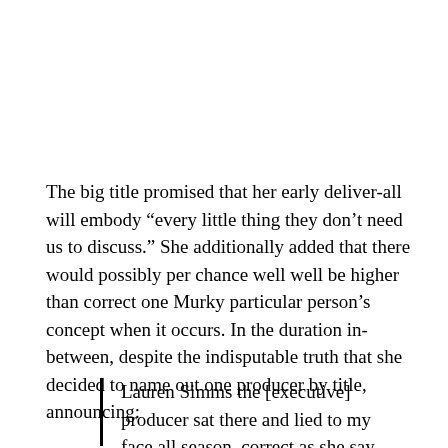The big title promised that her early deliver-all will embody “every little thing they don’t need us to discuss.” She additionally added that there would possibly per chance well well be higher than correct one Murky particular person’s concept when it occurs. In the duration in-between, despite the indisputable truth that she decided to name out one producer by title, announcing:
Lauren Simms the [executive] producer sat there and lied to my face all season, correct as she say...